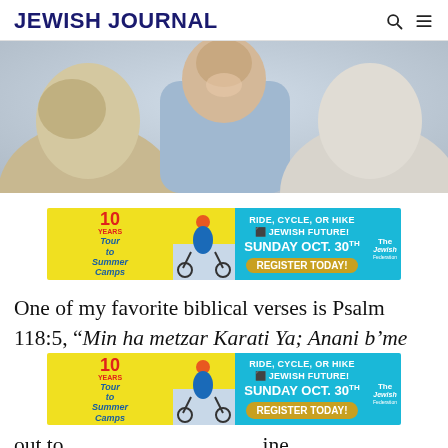JEWISH JOURNAL
[Figure (photo): Three older adults laughing and socializing together, seen from behind/side angle, warm candid moment]
[Figure (infographic): Advertisement: Tour to Summer Camps - Ride, Cycle, or Hike for the Jewish Future! Sunday Oct. 30th - Register Today!]
One of my favorite biblical verses is Psalm 118:5, “Min ha metzar Karati Ya; Anani b'me... all out to... ine
[Figure (infographic): Advertisement: Tour to Summer Camps - Ride, Cycle, or Hike for the Jewish Future! Sunday Oct. 30th - Register Today!]